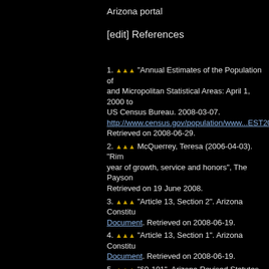Arizona portal
[edit] References
1. ▲▲▲ "Annual Estimates of the Population of and Micropolitan Statistical Areas: April 1, 2000 to US Census Bureau. 2008-03-07. http://www.census.gov/population/www...EST2007 Retrieved on 2008-06-29.
2. ▲▲▲ McQuerrey, Teresa (2006-04-03). "Rim year of growth, service and honors", The Payson Retrieved on 19 June 2008.
3. ▲▲▲ "Article 13, Section 2". Arizona Constitu Document. Retrieved on 2008-06-19.
4. ▲▲▲ "Article 13, Section 1". Arizona Constitu Document. Retrieved on 2008-06-19.
5. ▲▲▲ "§9-101". Arizona Revised Statutes. Fo Document. Retrieved on 2008-06-21.
6. ▲▲▲ "§9-101.01". Arizona Revised Statutes. Document. Retrieved on 2008-06-21.
7. ▲▲▲ "§9-281". Arizona Revised Statutes. Fo Document. Retrieved on 2008-06-21.
8. ▲▲▲ "§9-276". Arizona Revised Statutes. Fo Document. Retrieved on 2008-06-21.
9. ▲▲▲ "Out of the Ashes: The History of the C City of Phoenix. OUT OF THE ASHES. Retrieved
10. ▲▲▲ "Annual Estimates of the Population f Places in Arizona". United States Census Bu